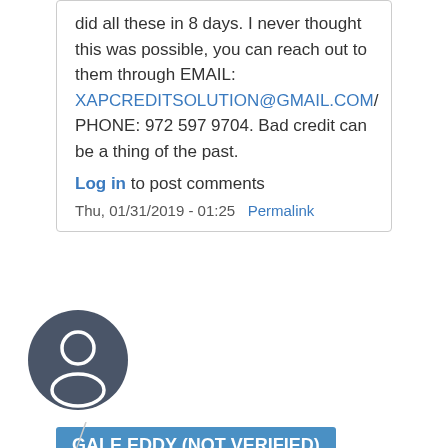did all these in 8 days. I never thought this was possible, you can reach out to them through EMAIL: XAPCREDITSOLUTION@GMAIL.COM/ PHONE: 972 597 9704. Bad credit can be a thing of the past.
Log in to post comments
Thu, 01/31/2019 - 01:25   Permalink
[Figure (illustration): User avatar: dark gray circle with white silhouette of a person]
GALE EDDY (NOT VERIFIED)
Credit Fix